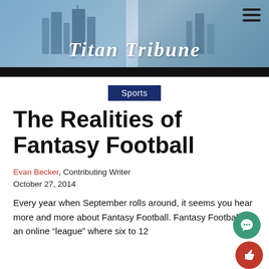Titan Tribune
Sports
The Realities of Fantasy Football
Evan Becker, Contributing Writer
October 27, 2014
Every year when September rolls around, it seems you hear more and more about Fantasy Football. Fantasy Football is an online “league” where six to 12